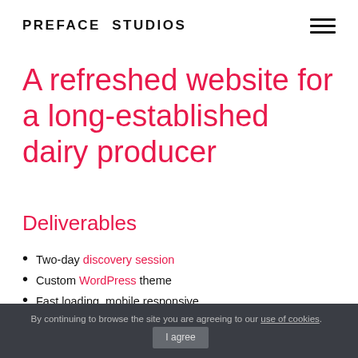PREFACE STUDIOS
A refreshed website for a long-established dairy producer
Deliverables
Two-day discovery session
Custom WordPress theme
Fast loading, mobile responsive
User-centred design
By continuing to browse the site you are agreeing to our use of cookies. I agree